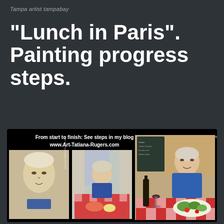Tampa artist tampabay
“Lunch in Paris”. Painting progress steps.
[Figure (photo): Composite image on black background showing three stages of a painting titled 'Lunch in Paris' by Tatiana Rugers. Left: a pencil/pastel sketch portrait of an elderly woman. Center: a partially completed painting showing the woman seated at a checkered tablecloth table with food and wine. Right: the finished painting showing the woman in a blue jacket at a Paris cafe table with wine bottle, glasses, and salad, with a chalkboard menu in the background. Text overlay reads: 'From start to finish: See steps in my blog www.Art-Tatiana-Rugers.com' and watermark 'www.Art-Tatiana-Rugers.com'.]